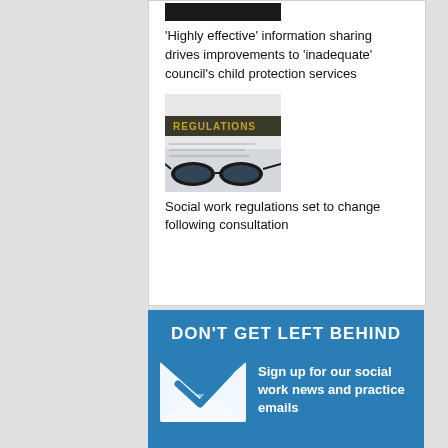[Figure (photo): Dark thumbnail image at top of article card]
'Highly effective' information sharing drives improvements to 'inadequate' council's child protection services
[Figure (photo): Image of glasses resting on a document with the word REGULATIONS visible]
Social work regulations set to change following consultation
[Figure (infographic): Blue banner with text DON'T GET LEFT BEHIND, envelope icon, and text Sign up for our social work news and practice emails]